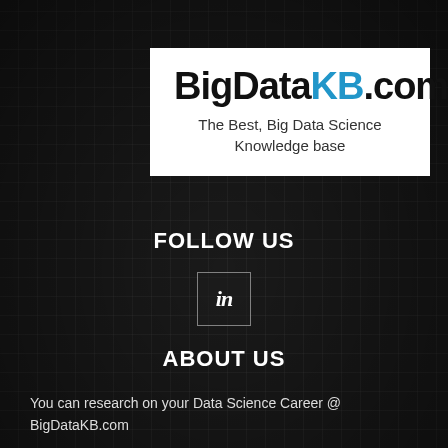[Figure (logo): BigDataKB.com logo on white background with subtitle 'The Best, Big Data Science Knowledge base']
FOLLOW US
[Figure (infographic): LinkedIn social icon button (in) with border]
ABOUT US
You can research on your Data Science Career @ BigDataKB.com
Contact us: Please use Contact us menu